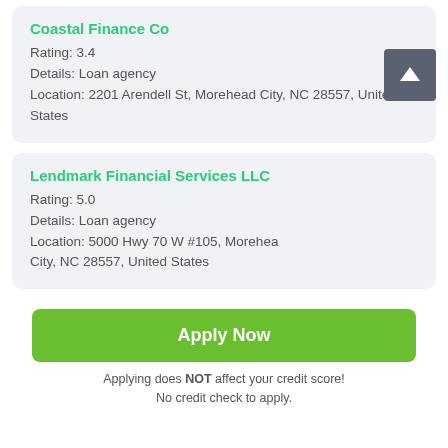Coastal Finance Co
Rating: 3.4
Details: Loan agency
Location: 2201 Arendell St, Morehead City, NC 28557, United States
Lendmark Financial Services LLC
Rating: 5.0
Details: Loan agency
Location: 5000 Hwy 70 W #105, Morehead City, NC 28557, United States
Apply Now
Applying does NOT affect your credit score! No credit check to apply.